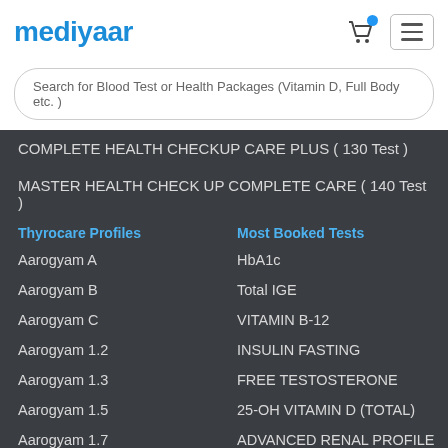mediyaar
Search for Blood Test or Health Packages (Vitamin D, Full Body etc. )
COMPLETE HEALTH CHECKUP CARE PLUS ( 130 Test )
MASTER HEALTH CHECK UP COMPLETE CARE ( 140 Test )
Thyrocare Profiles
Most Booked Tests
Aarogyam A
HbA1c
Aarogyam B
Total IGE
Aarogyam C
VITAMIN B-12
Aarogyam 1.2
INSULIN FASTING
Aarogyam 1.3
FREE TESTOSTERONE
Aarogyam 1.5
25-OH VITAMIN D (TOTAL)
Aarogyam 1.7
ADVANCED RENAL PROFILE